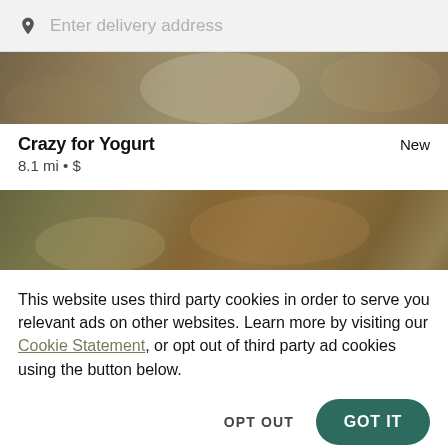Enter delivery address
[Figure (photo): Food photo showing colorful dishes from above - partial view cropped at top of card]
Crazy for Yogurt
New
8.1 mi • $
[Figure (photo): Food photo showing sandwiches, fried items and various foods on a tray]
This website uses third party cookies in order to serve you relevant ads on other websites. Learn more by visiting our Cookie Statement, or opt out of third party ad cookies using the button below.
OPT OUT
GOT IT